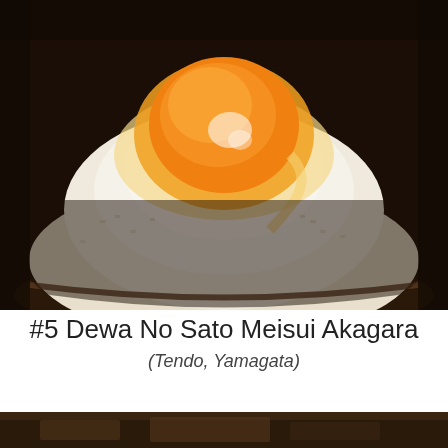[Figure (photo): Close-up photo of a raw egg yolk placed on top of a mound of steamed white rice in a dark ceramic bowl. The egg yolk is bright orange-yellow with glossy sheen and white highlights.]
#5 Dewa No Sato Meisui Akagara
(Tendo, Yamagata)
[Figure (photo): Partial view of another food item at the bottom of the page, dark tones suggesting a similar Japanese dish.]